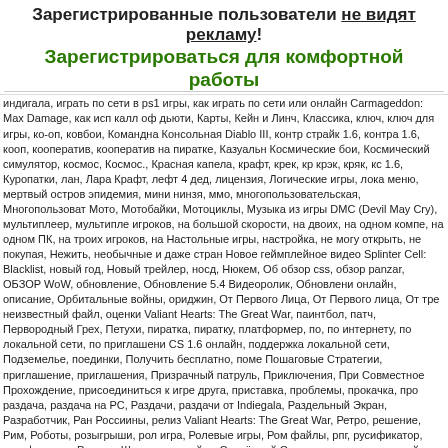Зарегистрированные пользователи не видят рекламу! Зарегистрироваться для комфортной работы
индигала, играть по сети в ps1 игры, как играть по сети или онлайн Carmageddon: Max Damage, как исп калл оф дьюти, Карты, Кейн и Линч, Классика, ключ, ключ для игры, ко-оп, ковбои, Командна Консольная Diablo III, контр страйк 1.6, контра 1.6, кооп, кооператив, кооператив на пиратке, Казуальн Космические бои, Космический симулятор, космос, Космос., Красная капела, крафт, крек, кр крэк, кряк, кс 1.6, Куропатки, лан, Лара Крафт, лефт 4 дед, лицензия, Логические игры, лока меню, мертвый остров эпидемия, мини нинзя, ммо, многопользовательская, Многопользоват Мото, Мотобайки, Мотоциклы, Музыка из игры DMC (Devil May Cry), мультиплеер, мультипле игроков, на большой скорости, на двоих, на одном компе, на одном ПК, на троих игроков, на Настольные игры, настройка, не могу открыть, не покупая, Нежить, необычные и даже стран Новое геймплейное видео Splinter Cell: Blacklist, новый год, Новый трейлер, носд, Нюкем, Об обзор css, обзор panzar, ОБЗОР WoW, обновление, Обновление 5.4 Видеоролик, Обновлени онлайн, описание, Орбитальные войны, ориджин, От Первого Лица, От Первого лица, От тре неизвестный файл, оценки Valiant Hearts: The Great War, паинтбол, патч, Первородный Грех, Петухи, пиратка, пиратку, платформер, по, по интернету, по локальной сети, по приглашени CS 1.6 онлайн, поддержка локальной сети, Подземелье, поединки, Получить бесплатно, поме Пошаговые Стратегии, приглашение, приглашения, Призрачный патруль, Приключения, При Совместное Прохождение, присоединиться к игре друга, приставка, проблемы, прокачка, про раздача, раздача на РС, Раздачи, раздачи от Indiegala, Раздельный Экран, Разработчик, Ран Россиины, релиз Valiant Hearts: The Great War, Ретро, решение, Рим, Роботы, розыгрыши, рол игра, Ролевые игры, Ром файлы, рпг, русификатор, русификация, Русские Шашки, русский яз Серьёзный Сэм, сетевая игра, сетевой запуск, сетевой режим, сетевой РПГ, сети, сеть, Симм Симуляторы, система друзей, скачать gameganger, скачать бесплатно, скачать игры, скачат Снайпер, Снайпер Элит, совместная игра, Совместная локальная игра, совместно, совместн прохождение., соединение, создание сети, сообща, соревнования, сорс, СофтКлаб, спарта, Спорт, Спортивные игры, способ, СР2, сражение, сражения, Стелс, стим, стим бесплатно ра стратегия, стратегия. вторая мировая война, стройка, Сайнт Роу 2, Тактическая Стратегия, Та тэкст, Тестирование, Тетрис, Тэйноголо, ТМНТ, террант, трактор, требования, Тролейбус